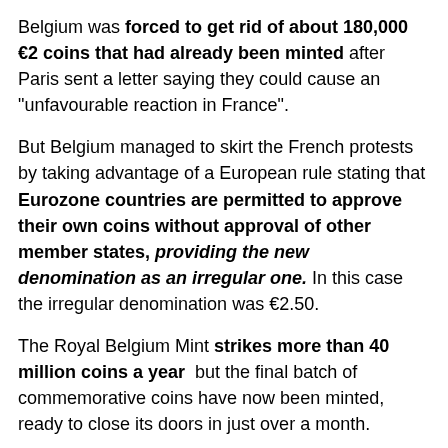Belgium was forced to get rid of about 180,000 €2 coins that had already been minted after Paris sent a letter saying they could cause an “unfavourable reaction in France”.
But Belgium managed to skirt the French protests by taking advantage of a European rule stating that Eurozone countries are permitted to approve their own coins without approval of other member states, providing the new denomination as an irregular one. In this case the irregular denomination was €2.50.
The Royal Belgium Mint strikes more than 40 million coins a year but the final batch of commemorative coins have now been minted, ready to close its doors in just over a month.
The last coins ever struck at
[Figure (photo): Two commemorative €2 coins from Belgium, partially visible, showing gold and silver bimetallic design with text 'GENT 200 YEA' visible on the rim.]